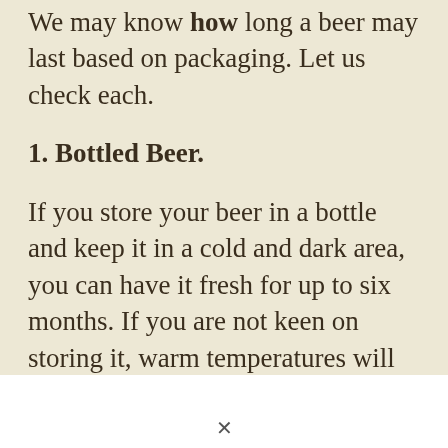We may know how long a beer may last based on packaging. Let us check each.
1. Bottled Beer.
If you store your beer in a bottle and keep it in a cold and dark area, you can have it fresh for up to six months. If you are not keen on storing it, warm temperatures will lower its quality, and you can only consume it within three months.
Often brown or dark bottles are